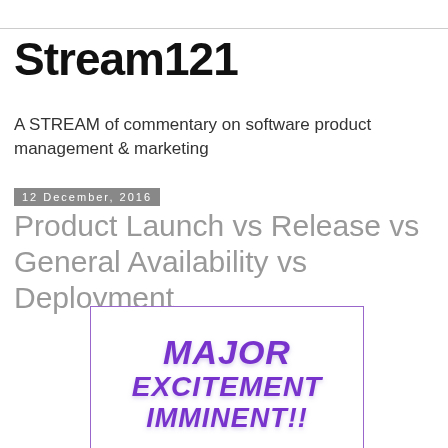Stream121
A STREAM of commentary on software product management & marketing
12 December, 2016
Product Launch vs Release vs General Availability vs Deployment
[Figure (illustration): Promotional graphic with purple bold italic text reading 'MAJOR EXCITEMENT IMMINENT!!' inside a purple-bordered box]